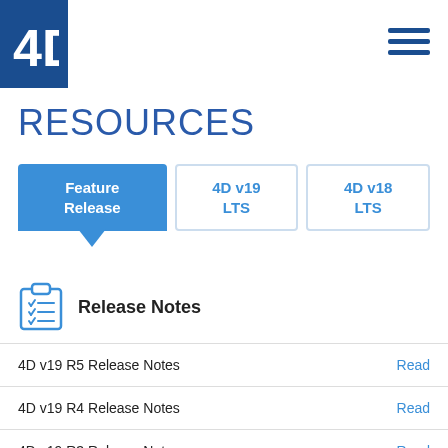4D logo and navigation menu
RESOURCES
Feature Release | 4D v19 LTS | 4D v18 LTS
[Figure (illustration): Clipboard icon with checklist lines]
Release Notes
4D v19 R5 Release Notes   Read
4D v19 R4 Release Notes   Read
4D v19 R3 Release Notes   Read